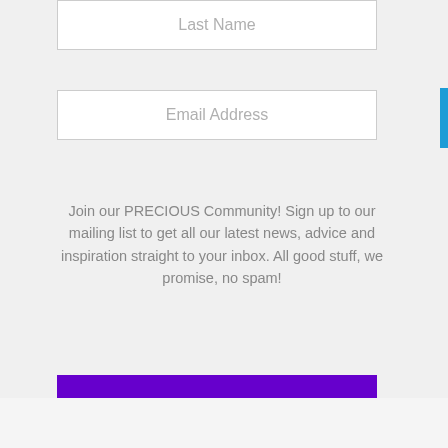Last Name
Email Address
Join our PRECIOUS Community! Sign up to our mailing list to get all our latest news, advice and inspiration straight to your inbox. All good stuff, we promise, no spam!
SIGN UP